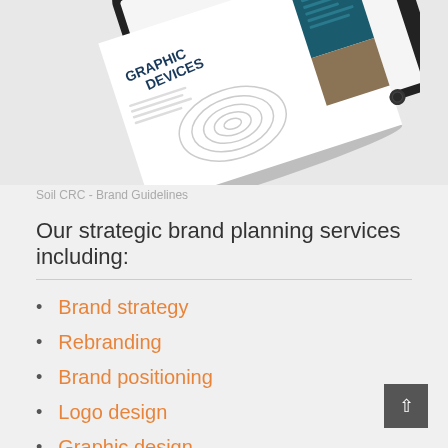[Figure (photo): A tablet device displaying a document page titled 'Graphic Devices' with topographic contour line illustration and a dark teal panel, shown at an angle on a light gray background.]
Soil CRC - Brand Guidelines
Our strategic brand planning services including:
Brand strategy
Rebranding
Brand positioning
Logo design
Graphic design